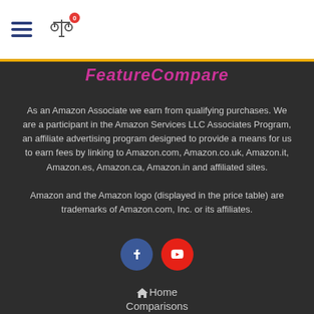Navigation bar with hamburger menu and scale/compare icon with badge 0
FeatureCompare
As an Amazon Associate we earn from qualifying purchases. We are a participant in the Amazon Services LLC Associates Program, an affiliate advertising program designed to provide a means for us to earn fees by linking to Amazon.com, Amazon.co.uk, Amazon.it, Amazon.es, Amazon.ca, Amazon.in and affiliated sites. Amazon and the Amazon logo (displayed in the price table) are trademarks of Amazon.com, Inc. or its affiliates.
[Figure (other): Facebook and YouTube social media icon buttons]
Home
Comparisons
Contacts
Privacy